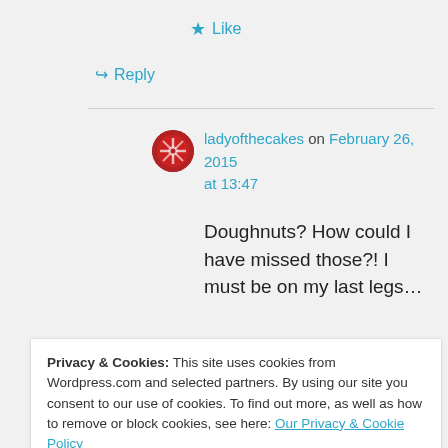★ Like
↪ Reply
ladyofthecakes on February 26, 2015 at 13:47
Doughnuts? How could I have missed those?! I must be on my last legs…
Privacy & Cookies: This site uses cookies from Wordpress.com and selected partners. By using our site you consent to our use of cookies. To find out more, as well as how to remove or block cookies, see here: Our Privacy & Cookie Policy
Close and accept